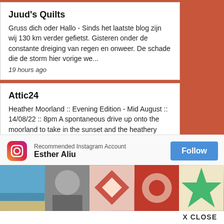Juud's Quilts
Gruss dich oder Hallo - Sinds het laatste blog zijn wij 130 km verder gefietst. Gisteren onder de constante dreiging van regen en onweer. De schade die de storm hier vorige we...
19 hours ago
Attic24
Heather Moorland :: Evening Edition - Mid August :: 14/08/22 :: 8pm A spontaneous drive up onto the moorland to take in the sunset and the heathery scenery. It wasn't an especially good evening...
19 hours ago
Judy's Journal
Home from England - It's easy to say - trust in you...
1 da...
Tru...
Just...
[Figure (screenshot): Instagram recommended account popup overlay showing Esther Aliu account with Follow button and 5 preview images of quilts and scenery]